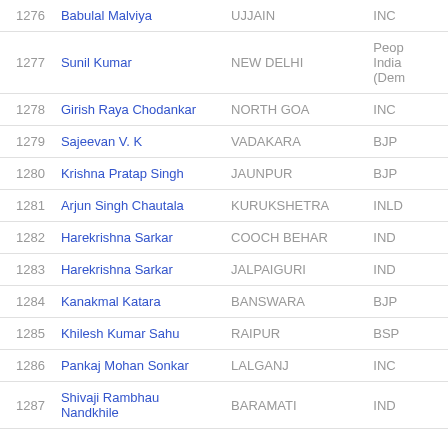| # | Name | Constituency | Party |
| --- | --- | --- | --- |
| 1276 | Babulal Malviya | UJJAIN | INC |
| 1277 | Sunil Kumar | NEW DELHI | People's India (Dem... |
| 1278 | Girish Raya Chodankar | NORTH GOA | INC |
| 1279 | Sajeevan V. K | VADAKARA | BJP |
| 1280 | Krishna Pratap Singh | JAUNPUR | BJP |
| 1281 | Arjun Singh Chautala | KURUKSHETRA | INLD |
| 1282 | Harekrishna Sarkar | COOCH BEHAR | IND |
| 1283 | Harekrishna Sarkar | JALPAIGURI | IND |
| 1284 | Kanakmal Katara | BANSWARA | BJP |
| 1285 | Khilesh Kumar Sahu | RAIPUR | BSP |
| 1286 | Pankaj Mohan Sonkar | LALGANJ | INC |
| 1287 | Shivaji Rambhau Nandkhile | BARAMATI | IND |